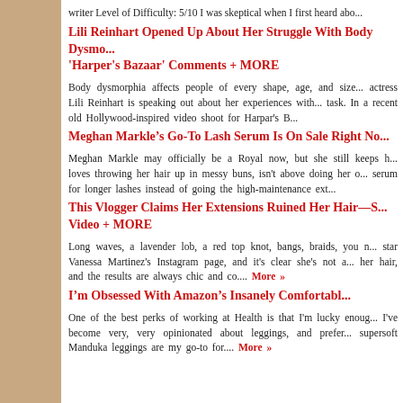writer Level of Difficulty: 5/10 I was skeptical when I first heard abo...
Lili Reinhart Opened Up About Her Struggle With Body Dysmo... 'Harper's Bazaar' Comments + MORE
Body dysmorphia affects people of every shape, age, and size... actress Lili Reinhart is speaking out about her experiences with... task. In a recent old Hollywood-inspired video shoot for Harpar's B...
Meghan Markle&rsquo;s Go-To Lash Serum Is On Sale Right No...
Meghan Markle may officially be a Royal now, but she still keeps... loves throwing her hair up in messy buns, isn't above doing her o... serum for longer lashes instead of going the high-maintenance ext...
This Vlogger Claims Her Extensions Ruined Her Hair&mdash;S... Video + MORE
Long waves, a lavender lob, a red top knot, bangs, braids, you n... star Vanessa Martinez's Instagram page, and it's clear she's not a... her hair, and the results are always chic and co.... More »
I&rsquo;m Obsessed With Amazon&rsquo;s Insanely Comfortab...
One of the best perks of working at Health is that I'm lucky enoug... I've become very, very opinionated about leggings, and prefer... supersoft Manduka leggings are my go-to for.... More »